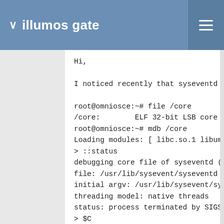illumos gate
Hi,

I noticed recently that syseventd is dy:
root@omniosce:~# file /core
/core:        ELF 32-bit LSB core file
root@omniosce:~# mdb /core
Loading modules: [ libc.so.1 libumem.so.
> ::status
debugging core file of syseventd (32-bit
file: /usr/lib/sysevent/syseventd
initial argv: /usr/lib/sysevent/syseven
threading model: native threads
status: process terminated by SIGSEGV (S
> $C
fc80efc8 0xfc9eaf85(8122d10, 0, 0, 0)
fc80efe8 libc.so.1`_thrp_setup+0x88(fec9
fc80eff8 libc.so.1`_lwp_start(fec99a40,